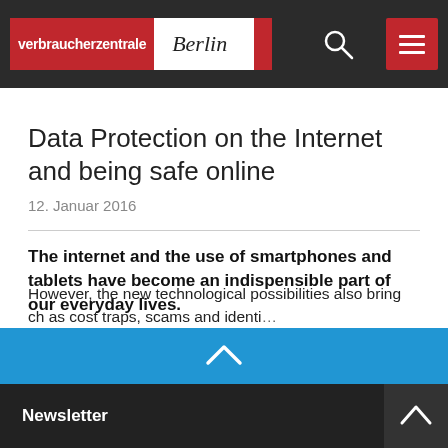verbraucherzentrale Berlin
Data Protection on the Internet and being safe online
12. Januar 2016
The internet and the use of smartphones and tablets have become an indispensible part of our everyday lives.
The internet offers equal access to information, an unlimited range of goods and services and new ways to
However, the new technological possibilities also bring ch as cost traps, scams and identi